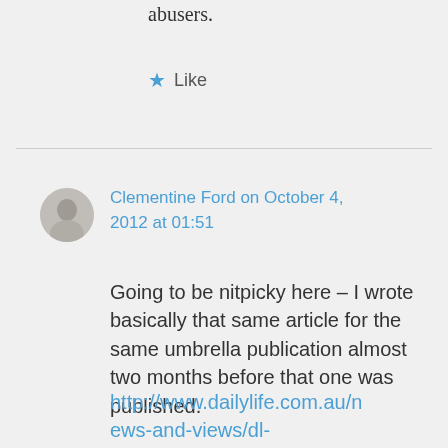abusers.
★ Like
Clementine Ford on October 4, 2012 at 01:51
Going to be nitpicky here – I wrote basically that same article for the same umbrella publication almost two months before that one was published.
http://www.dailylife.com.au/news-and-views/dl-opinion/doi-he-just-say-that-the